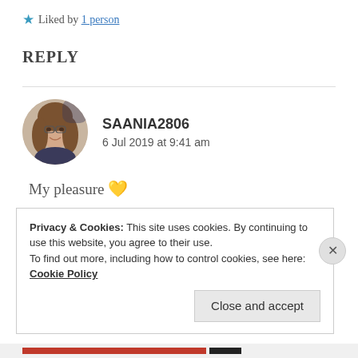★ Liked by 1 person
REPLY
[Figure (photo): Circular avatar photo of a young woman with long brown hair and glasses, smiling]
SAANIA2806
6 Jul 2019 at 9:41 am
My pleasure 💛
★ Liked by 1 person
Privacy & Cookies: This site uses cookies. By continuing to use this website, you agree to their use.
To find out more, including how to control cookies, see here: Cookie Policy
Close and accept